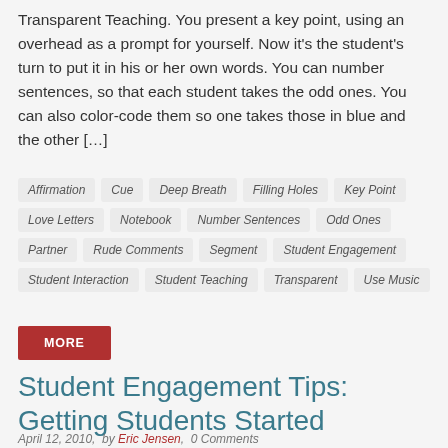Transparent Teaching. You present a key point, using an overhead as a prompt for yourself. Now it's the student's turn to put it in his or her own words. You can number sentences, so that each student takes the odd ones. You can also color-code them so one takes those in blue and the other […]
Affirmation, Cue, Deep Breath, Filling Holes, Key Point, Love Letters, Notebook, Number Sentences, Odd Ones, Partner, Rude Comments, Segment, Student Engagement, Student Interaction, Student Teaching, Transparent, Use Music
MORE
Student Engagement Tips: Getting Students Started
April 12, 2010,  by Eric Jensen,  0 Comments